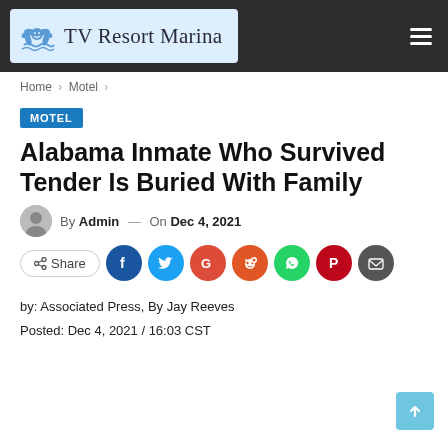TV Resort Marina
Home > Motel >
MOTEL
Alabama Inmate Who Survived Tender Is Buried With Family
By Admin — On Dec 4, 2021
[Figure (infographic): Social share buttons: Share, Facebook, Twitter, Google+, Reddit, WhatsApp, Pinterest, Email]
by: Associated Press, By Jay Reeves
Posted: Dec 4, 2021 / 16:03 CST